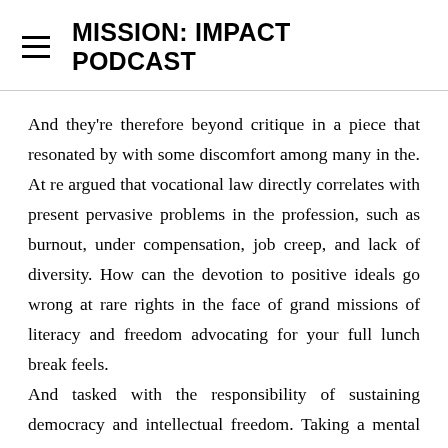MISSION: IMPACT PODCAST
And they're therefore beyond critique in a piece that resonated by with some discomfort among many in the. At re argued that vocational law directly correlates with present pervasive problems in the profession, such as burnout, under compensation, job creep, and lack of diversity. How can the devotion to positive ideals go wrong at rare rights in the face of grand missions of literacy and freedom advocating for your full lunch break feels.
And tasked with the responsibility of sustaining democracy and intellectual freedom. Taking a mental health day feels shameful. All that vocational awe is